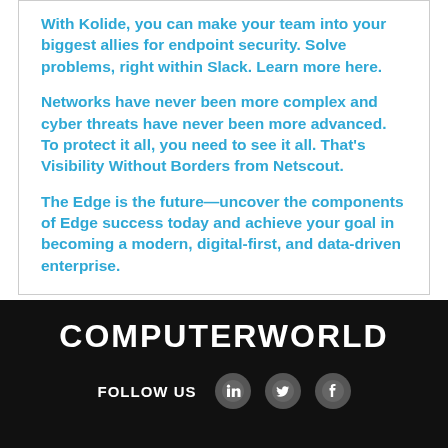With Kolide, you can make your team into your biggest allies for endpoint security. Solve problems, right within Slack. Learn more here.
Networks have never been more complex and cyber threats have never been more advanced. To protect it all, you need to see it all. That's Visibility Without Borders from Netscout.
The Edge is the future—uncover the components of Edge success today and achieve your goal in becoming a modern, digital-first, and data-driven enterprise.
COMPUTERWORLD
FOLLOW US